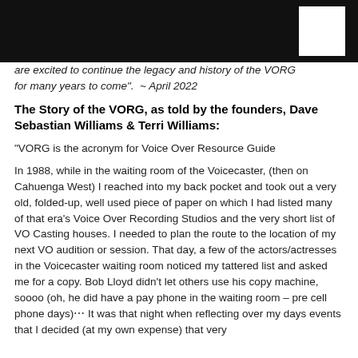are excited to continue the legacy and history of the VORG for many years to come".  ~ April 2022
The Story of the VORG, as told by the founders, Dave Sebastian Williams & Terri Williams:
“VORG is the acronym for Voice Over Resource Guide
In 1988, while in the waiting room of the Voicecaster, (then on Cahuenga West) I reached into my back pocket and took out a very old, folded-up, well used piece of paper on which I had listed many of that era’s Voice Over Recording Studios and the very short list of VO Casting houses. I needed to plan the route to the location of my next VO audition or session. That day, a few of the actors/actresses in the Voicecaster waiting room noticed my tattered list and asked me for a copy. Bob Lloyd didn’t let others use his copy machine, soooo (oh, he did have a pay phone in the waiting room – pre cell phone days)⋯ It was that night when reflecting over my days events that I decided (at my own expense) that very